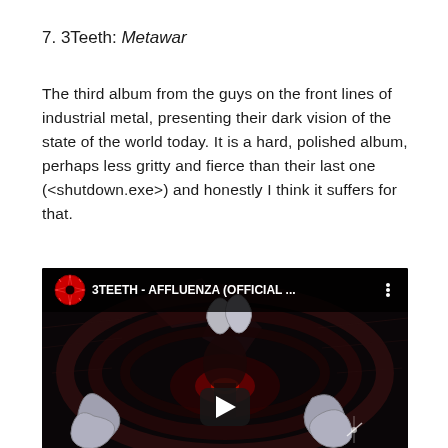7. 3Teeth: Metawar
The third album from the guys on the front lines of industrial metal, presenting their dark vision of the state of the world today. It is a hard, polished album, perhaps less gritty and fierce than their last one (<shutdown.exe>) and honestly I think it suffers for that.
[Figure (screenshot): YouTube video thumbnail for 3TEETH - AFFLUENZA (OFFICIAL ... showing a dark industrial sci-fi scene with metallic tooth/robot imagery and red lighting, with a play button overlay and the channel logo in the top bar.]